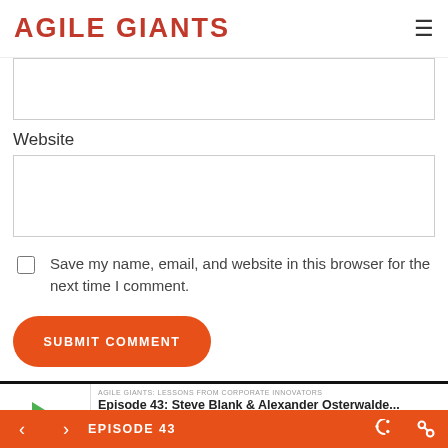AGILE GIANTS
Website
Save my name, email, and website in this browser for the next time I comment.
SUBMIT COMMENT
AGILE GIANTS: LESSONS FROM CORPORATE INNOVATORS
Episode 43: Steve Blank & Alexander Osterwalde...
EPISODE 43